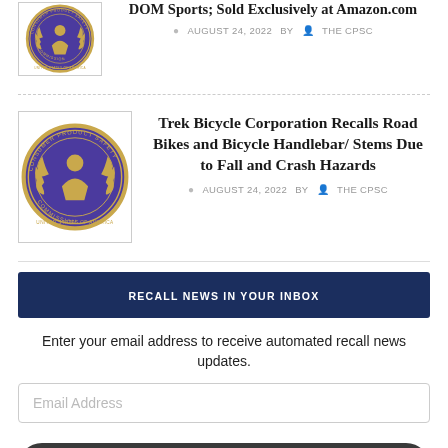[Figure (logo): CPSC Consumer Product Safety Commission seal, gold and purple color]
DOM Sports; Sold Exclusively at Amazon.com
AUGUST 24, 2022   BY   THE CPSC
[Figure (logo): CPSC Consumer Product Safety Commission seal, gold and purple color]
Trek Bicycle Corporation Recalls Road Bikes and Bicycle Handlebar/ Stems Due to Fall and Crash Hazards
AUGUST 24, 2022   BY   THE CPSC
RECALL NEWS IN YOUR INBOX
Enter your email address to receive automated recall news updates.
Email Address
SUBSCRIBE